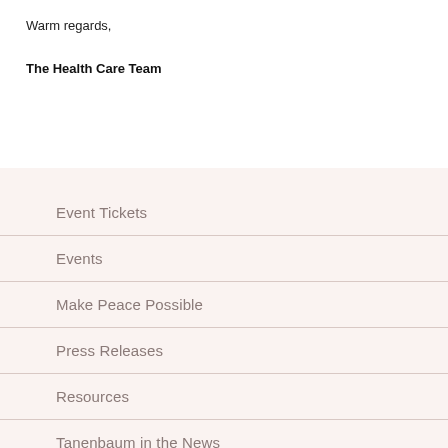Warm regards,
The Health Care Team
Event Tickets
Events
Make Peace Possible
Press Releases
Resources
Tanenbaum in the News